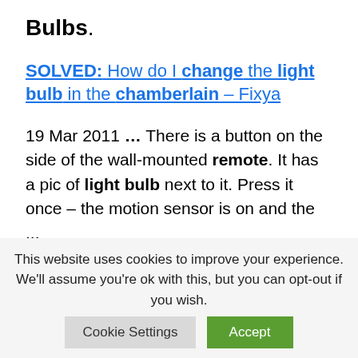Bulbs.
SOLVED: How do I change the light bulb in the chamberlain – Fixya
19 Mar 2011 … There is a button on the side of the wall-mounted remote. It has a pic of light bulb next to it. Press it once – the motion sensor is on and the ...
Chamberlain 3/4 HP Belt Drive LED Smart Garage Door Opener
This website uses cookies to improve your experience. We'll assume you're ok with this, but you can opt-out if you wish.